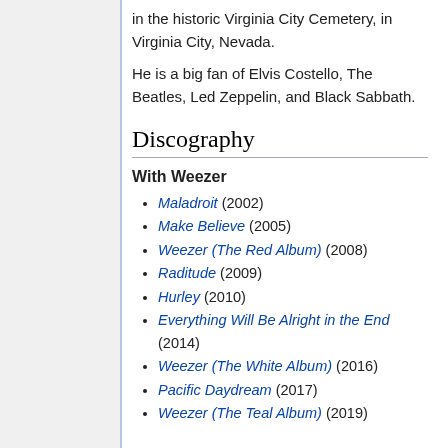in the historic Virginia City Cemetery, in Virginia City, Nevada.
He is a big fan of Elvis Costello, The Beatles, Led Zeppelin, and Black Sabbath.
Discography
With Weezer
Maladroit (2002)
Make Believe (2005)
Weezer (The Red Album) (2008)
Raditude (2009)
Hurley (2010)
Everything Will Be Alright in the End (2014)
Weezer (The White Album) (2016)
Pacific Daydream (2017)
Weezer (The Teal Album) (2019)